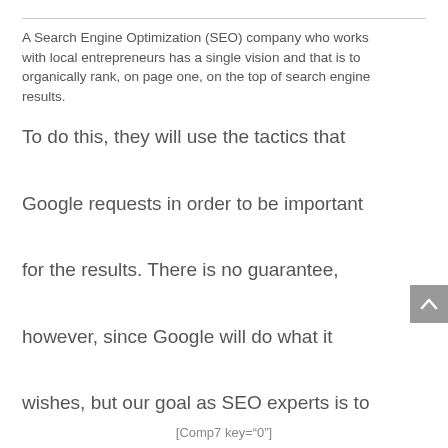A Search Engine Optimization (SEO) company who works with local entrepreneurs has a single vision and that is to organically rank, on page one, on the top of search engine results. To do this, they will use the tactics that Google requests in order to be important for the results. There is no guarantee, however, since Google will do what it wishes, but our goal as SEO experts is to show the search engines we follow the rules and have a worthy website to be put into the search results.
[Comp7 key="0"]